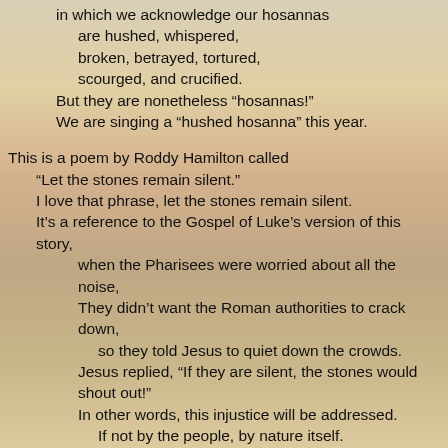in which we acknowledge our hosannas are hushed, whispered, broken, betrayed, tortured, scourged, and crucified. But they are nonetheless “hosannas!” We are singing a “hushed hosanna” this year.

This is a poem by Roddy Hamilton called “Let the stones remain silent.” I love that phrase, let the stones remain silent. It’s a reference to the Gospel of Luke’s version of this story, when the Pharisees were worried about all the noise, They didn’t want the Roman authorities to crack down, so they told Jesus to quiet down the crowds. Jesus replied, “If they are silent, the stones would shout out!” In other words, this injustice will be addressed. If not by the people, by nature itself.

So when this poem ends with the line, which you will all read together,